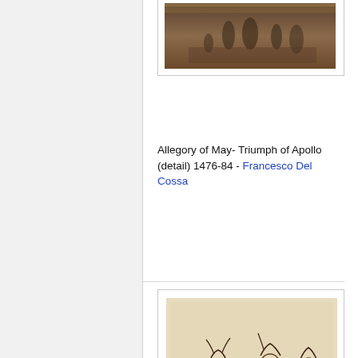[Figure (illustration): Partial view of a framed artwork showing a historical painting with figures on horseback, partially cropped at top of page]
Allegory of May- Triumph of Apollo (detail) 1476-84 - Francesco Del Cossa
[Figure (illustration): Framed sketch drawing showing Esther and Ahasuerus figures in loose pen/ink style, multiple figures in flowing garments]
Esther and Ahasuerus - Giovanni Francesco Guercino (BARBIERI)
[Figure (illustration): Third framed artwork, partially visible at bottom of page, appears to show a landscape or seascape scene]